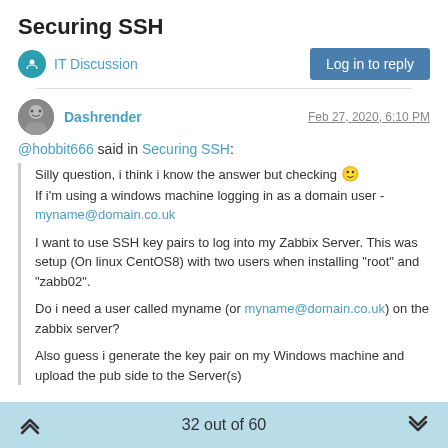Securing SSH
IT Discussion
Log in to reply
Dashrender  Feb 27, 2020, 6:10 PM
@hobbit666 said in Securing SSH:
Silly question, i think i know the answer but checking 🙂
If i'm using a windows machine logging in as a domain user -
myname@domain.co.uk

I want to use SSH key pairs to log into my Zabbix Server. This was setup (On linux CentOS8) with two users when installing "root" and "zabb02".

Do i need a user called myname (or myname@domain.co.uk) on the zabbix server?

Also guess i generate the key pair on my Windows machine and upload the pub side to the Server(s)
32 out of 60